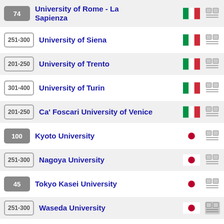74 University of Rome - La Sapienza (Italy)
251-300 University of Siena (Italy)
201-250 University of Trento (Italy)
301-400 University of Turin (Italy)
201-250 Ca' Foscari University of Venice (Italy)
100 Kyoto University (Japan)
251-300 Nagoya University (Japan)
45 Tokyo Kasei University (Japan)
251-300 Waseda University (Japan)